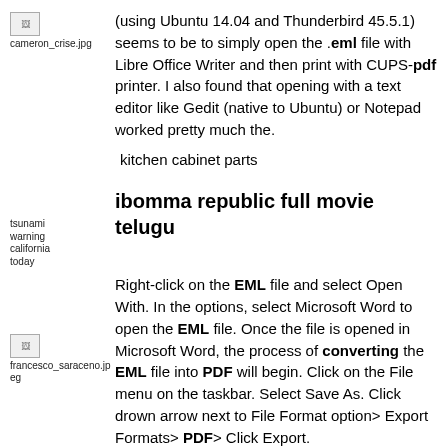[Figure (photo): Broken image placeholder labeled cameron_crise.jpg]
(using Ubuntu 14.04 and Thunderbird 45.5.1) seems to be to simply open the .eml file with Libre Office Writer and then print with CUPS-pdf printer. I also found that opening with a text editor like Gedit (native to Ubuntu) or Notepad worked pretty much the.
kitchen cabinet parts
[Figure (photo): Broken image placeholder labeled tsunami warning california today]
ibomma republic full movie telugu
[Figure (photo): Broken image placeholder labeled francesco_saraceno.jpeg]
Right-click on the EML file and select Open With. In the options, select Microsoft Word to open the EML file. Once the file is opened in Microsoft Word, the process of converting the EML file into PDF will begin. Click on the File menu on the taskbar. Select Save As. Click drown arrow next to File Format option> Export Formats> PDF> Click Export.